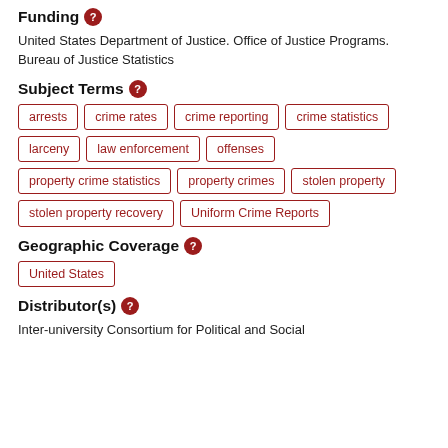Funding
United States Department of Justice. Office of Justice Programs. Bureau of Justice Statistics
Subject Terms
arrests
crime rates
crime reporting
crime statistics
larceny
law enforcement
offenses
property crime statistics
property crimes
stolen property
stolen property recovery
Uniform Crime Reports
Geographic Coverage
United States
Distributor(s)
Inter-university Consortium for Political and Social